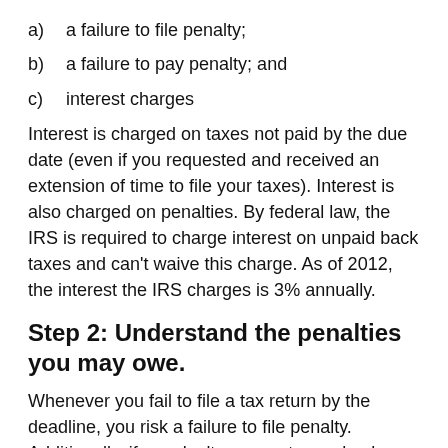a)   a failure to file penalty;
b)   a failure to pay penalty; and
c)   interest charges
Interest is charged on taxes not paid by the due date (even if you requested and received an extension of time to file your taxes). Interest is also charged on penalties. By federal law, the IRS is required to charge interest on unpaid back taxes and can’t waive this charge. As of 2012, the interest the IRS charges is 3% annually.
Step 2: Understand the penalties you may owe.
Whenever you fail to file a tax return by the deadline, you risk a failure to file penalty. Additionally, if you don’t pay any taxes due by the due date, that could bring an extra